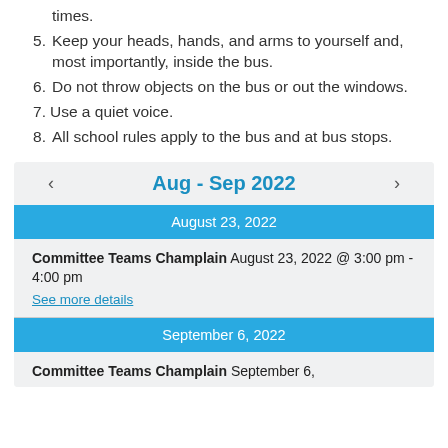times.
5. Keep your heads, hands, and arms to yourself and, most importantly, inside the bus.
6. Do not throw objects on the bus or out the windows.
7. Use a quiet voice.
8. All school rules apply to the bus and at bus stops.
[Figure (screenshot): Calendar widget showing Aug - Sep 2022 with events on August 23, 2022 and September 6, 2022. Committee Teams Champlain event on August 23, 2022 @ 3:00 pm - 4:00 pm with 'See more details' link. Committee Teams Champlain event on September 6.]